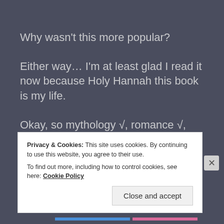Why wasn't this more popular?
Either way… I'm at least glad I read it now because Holy Hannah this book is my life.
Okay, so mythology √, romance √, hot guy √, grief/angst √ AND Christmas √
*Yes, I'm hugely aware that those are square root
Privacy & Cookies: This site uses cookies. By continuing to use this website, you agree to their use.
To find out more, including how to control cookies, see here: Cookie Policy
Close and accept